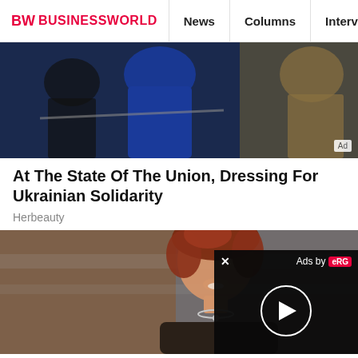BW BUSINESSWORLD | News | Columns | Interviews | BW
[Figure (photo): Photo of people at an event, woman in blue outfit visible, advertisement image]
At The State Of The Union, Dressing For Ukrainian Solidarity
Herbeauty
[Figure (photo): Smiling woman with red curly hair wearing a diamond necklace and dark dress, appears to be a movie still]
8 Pop Culture Fashion Icons Who Inspired Us